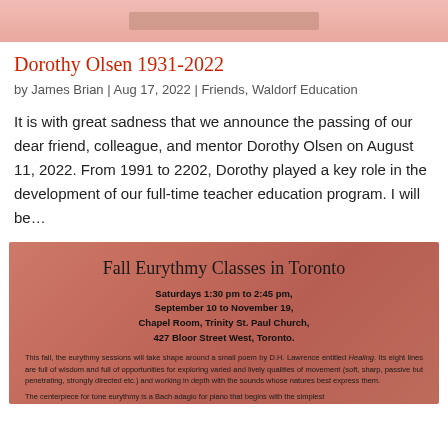[Figure (photo): Top image strip showing a partial photo, pinkish-rose toned]
Dorothy Olsen 1931-2022
by James Brian | Aug 17, 2022 | Friends, Waldorf Education
It is with great sadness that we announce the passing of our dear friend, colleague, and mentor Dorothy Olsen on August 11, 2022.  From 1991 to 2202, Dorothy played a key role in the development of our full-time teacher education program.  I will be…
[Figure (photo): Fall Eurythmy Classes in Toronto event flyer with pink/red background. Text includes: Fall Eurythmy Classes in Toronto, Saturdays 1:30 pm to 2:45 pm, September 10 to November 19, Chapel Room, Trinity St. Paul Church, 427 Bloor Street West, Toronto. Body text about eurythmy sessions shaped around a poem by D.H. Lawrence entitled Healing and a Bach adagio for piano.]